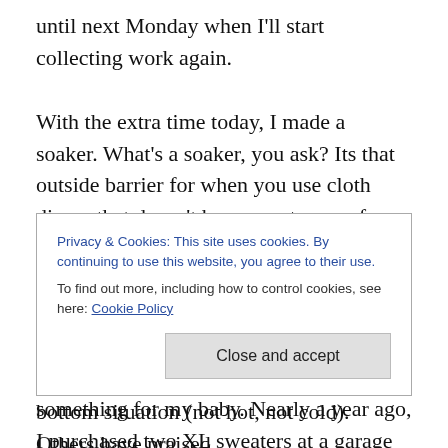until next Monday when I'll start collecting work again.

With the extra time today, I made a soaker. What's a soaker, you ask? Its that outside barrier for when you use cloth diaper that doesn't have a water proof layer. Plenty of cloth diapers come with an outside barrier layer, such as PUL (I think the most common). I'm sure I will have several of those, but my tightwad nature and crafty hands desire to make something for my baby. Nearly a year ago, I purchased two XL sweaters at a garage sale for a quarter each with plans to try yarn recycling. That idea flopped
Privacy & Cookies: This site uses cookies. By continuing to use this website, you agree to their use.
To find out more, including how to control cookies, see here: Cookie Policy
Close and accept
bottom situation (not hot, not cold). Others have praised